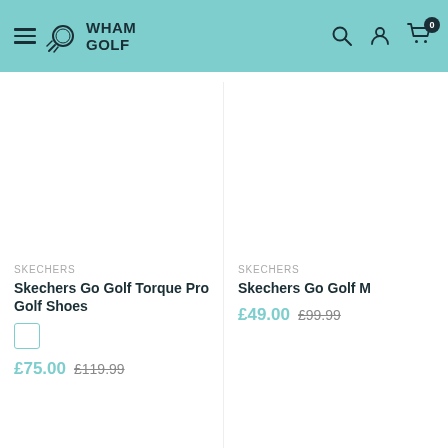Wham Golf — site header with navigation icons
SKECHERS
Skechers Go Golf Torque Pro Golf Shoes
£75.00  £119.99
SKECHERS
Skechers Go Golf M
£49.00  £99.99